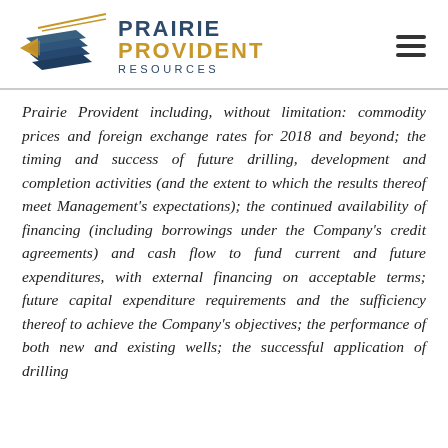[Figure (logo): Prairie Provident Resources logo with stylized blue and gold geometric shape and company name]
Prairie Provident including, without limitation: commodity prices and foreign exchange rates for 2018 and beyond; the timing and success of future drilling, development and completion activities (and the extent to which the results thereof meet Management's expectations); the continued availability of financing (including borrowings under the Company's credit agreements) and cash flow to fund current and future expenditures, with external financing on acceptable terms; future capital expenditure requirements and the sufficiency thereof to achieve the Company's objectives; the performance of both new and existing wells; the successful application of drilling